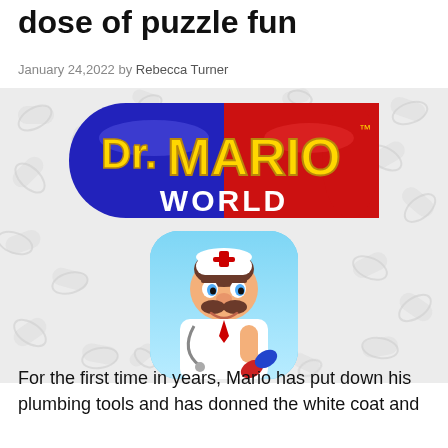dose of puzzle fun
January 24,2022 by Rebecca Turner
[Figure (illustration): Dr. Mario World game logo and app icon on a pill-patterned background. The logo shows a large capsule pill split red and blue with 'Dr. MARIO' in yellow lettering and 'WORLD' in white below. Below the logo is the app icon showing Mario dressed as a doctor in a white coat holding a red and blue capsule pill.]
For the first time in years, Mario has put down his plumbing tools and has donned the white coat and